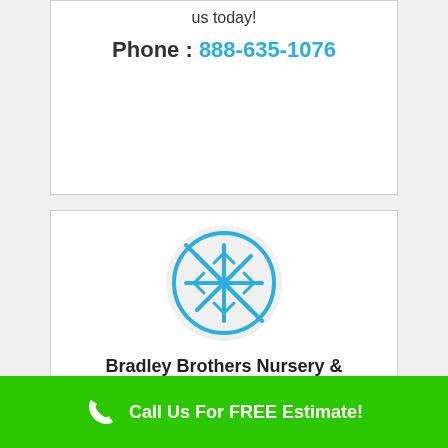us today!
Phone : 888-635-1076
[Figure (illustration): Snowflake icon inside a circle with a diagonal line through it, in blue outline style on light gray background]
Bradley Brothers Nursery & Landscaping
149 Stag Court, Dothan, AL, 36303
Professional, Scientific, and Technical Services
Call Us For FREE Estimate!